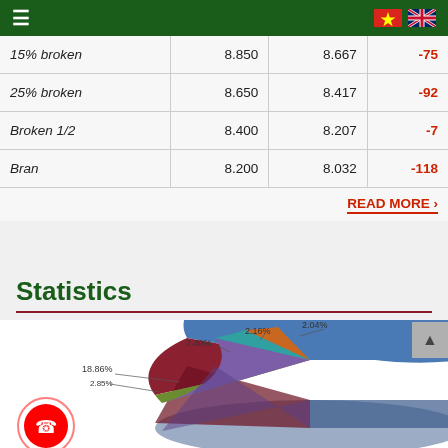Navigation header with hamburger menu and Vietnam/UK flags
|  |  |  |  |
| --- | --- | --- | --- |
| 15% broken | 8.850 | 8.667 | -75 |
| 25% broken | 8.650 | 8.417 | -92 |
| Broken 1/2 | 8.400 | 8.207 | -7 |
| Bran | 8.200 | 8.032 | -118 |
READ MORE
Statistics
[Figure (pie-chart): 3D pie chart showing market/trade statistics with percentage breakdowns]